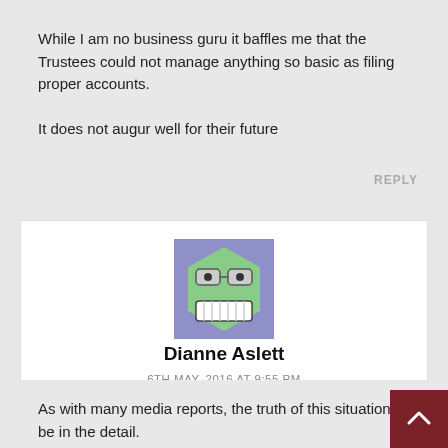While I am no business guru it baffles me that the Trustees could not manage anything so basic as filing proper accounts.

It does not augur well for their future
REPLY
[Figure (illustration): A cartoon avatar of a green hexagonal face with glasses and a wide open toothy grin, set against a purple/blue background]
Dianne Aslett
6TH MAY, 2016 AT 9:55 PM
As with many media reports, the truth of this situation be in the detail.